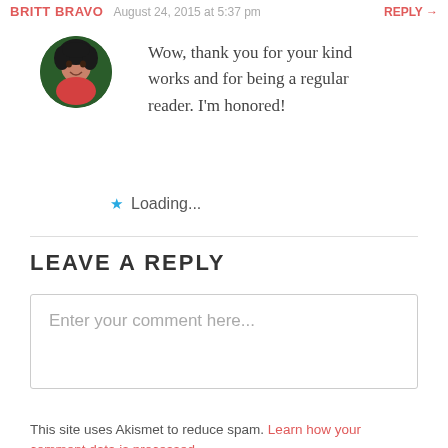BRITT BRAVO — August 24, 2015 at 5:37 pm — REPLY →
[Figure (photo): Circular avatar photo of a woman with curly dark hair, smiling, wearing a red top, against a green background]
Wow, thank you for your kind works and for being a regular reader. I'm honored!
★ Loading...
LEAVE A REPLY
Enter your comment here...
This site uses Akismet to reduce spam. Learn how your comment data is processed.